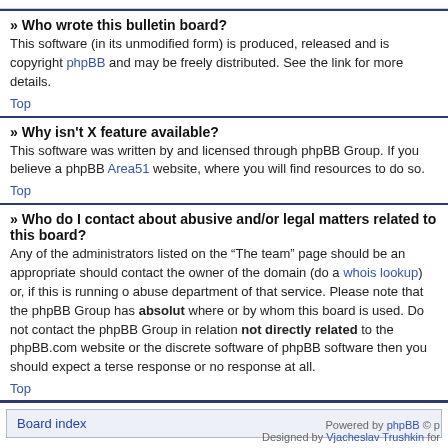» Who wrote this bulletin board?
This software (in its unmodified form) is produced, released and is copyright phpBB and may be freely distributed. See the link for more details.
Top
» Why isn't X feature available?
This software was written by and licensed through phpBB Group. If you believe a phpBB Area51 website, where you will find resources to do so.
Top
» Who do I contact about abusive and/or legal matters related to this board?
Any of the administrators listed on the “The team” page should be an appropriate should contact the owner of the domain (do a whois lookup) or, if this is running o abuse department of that service. Please note that the phpBB Group has absolut where or by whom this board is used. Do not contact the phpBB Group in relation not directly related to the phpBB.com website or the discrete software of phpBB software then you should expect a terse response or no response at all.
Top
Board index
Powered by phpBB © p Designed by Vjacheslav Trushkin for